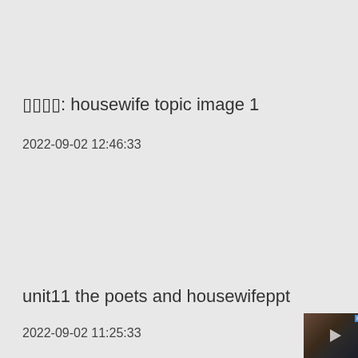▯▯▯▯: housewife topic image 1
2022-09-02 12:46:33
unit11 the poets and housewifeppt
2022-09-02 11:25:33
[Figure (photo): Thumbnail image showing a close-up of a person's face, partially obscured, with dark tones.]